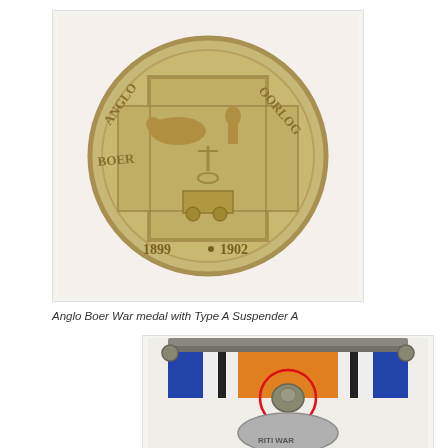[Figure (photo): Anglo Boer War medal (reverse side) showing a circular bronze medal with 'ANGLO BOER OORLOG' inscribed around the edge, '1899 1902' at the bottom, and central imagery including a lion, standing figure, anchor, and mining cart within a cross-shaped frame.]
Anglo Boer War medal with Type A Suspender A
[Figure (photo): British War medal with a blue, white, and orange striped ribbon attached to a suspender bar. A red circle highlights the suspender/claw attachment point at the top of the medal. The bottom of the medal shows partial text reading 'BRITISH WAR MEDAL' or similar.]